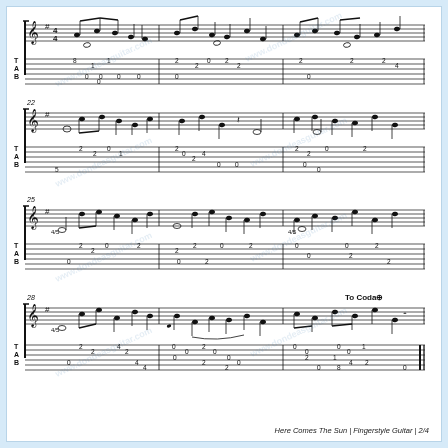[Figure (illustration): Guitar tablature and standard notation sheet music for 'Here Comes The Sun' fingerstyle guitar arrangement, page 2 of 4. Shows measures approximately 22-30 with treble clef notation in G major (one sharp) and TAB staff below each system. Four systems of music visible: top partial system, measures 22-24, measures 25-27, measures 28-30 (marked 'To Coda'). TAB numbers range 0-8 across 6 strings. Watermark text 'www.dondeasguitar.com' overlaid diagonally multiple times.]
Here Comes The Sun | Fingerstyle Guitar | 2/4